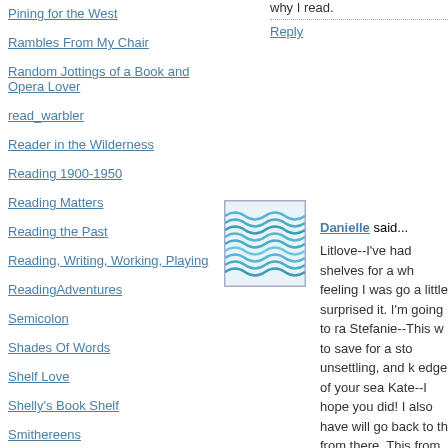Pining for the West
Rambles From My Chair
Random Jottings of a Book and Opera Lover
read_warbler
Reader in the Wilderness
Reading 1900-1950
Reading Matters
Reading the Past
Reading, Writing, Working, Playing
ReadingAdventures
Semicolon
Shades Of Words
Shelf Love
Shelly's Book Shelf
Smithereens
The Book Trunk
Weeds (formerly known as So Many Books)
why I read.
Reply
[Figure (illustration): Avatar image with blue wavy pattern]
Danielle said...
Litlove--I've had shelves for a while feeling I was go a little surprised it. I'm going to ra Stefanie--This w to save for a sto unsettling, and k edge of your sea Kate--I hope you did! I also have will go back to th from there. This from the first pa I really liked the drawn into her li